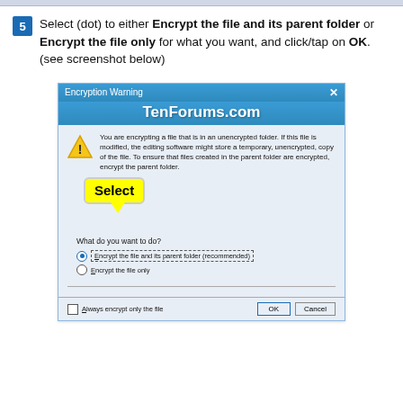5  Select (dot) to either Encrypt the file and its parent folder or Encrypt the file only for what you want, and click/tap on OK. (see screenshot below)
[Figure (screenshot): Windows Encryption Warning dialog box from TenForums.com showing a warning about encrypting a file in an unencrypted folder, with options to 'Encrypt the file and its parent folder (recommended)' or 'Encrypt the file only', and a yellow 'Select' callout bubble pointing to the radio options. The first radio option is selected. Footer shows a checkbox 'Always encrypt only the file' and OK/Cancel buttons.]